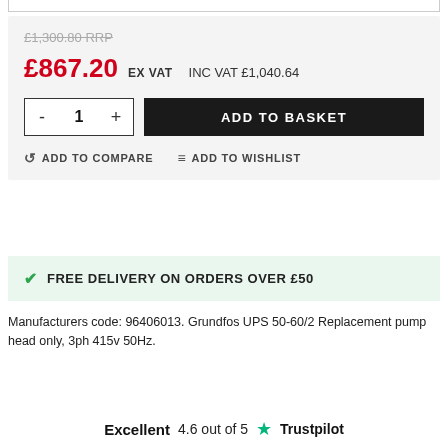£1,300.80 RRP
£867.20 EX VAT  INC VAT £1,040.64
- 1 +  ADD TO BASKET
ADD TO COMPARE   ADD TO WISHLIST
FREE DELIVERY ON ORDERS OVER £50
Manufacturers code: 96406013. Grundfos UPS 50-60/2 Replacement pump head only, 3ph 415v 50Hz.
Excellent  4.6 out of 5  Trustpilot